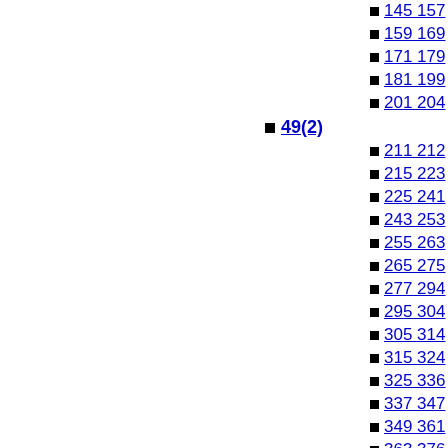145  157
159  169
171  179
181  199
201  204
49(2)
211  212
215  223
225  241
243  253
255  263
265  275
277  294
295  304
305  314
315  324
325  336
337  347
349  361
363  376
377  389
391  401
403  412
49(3)
419  420